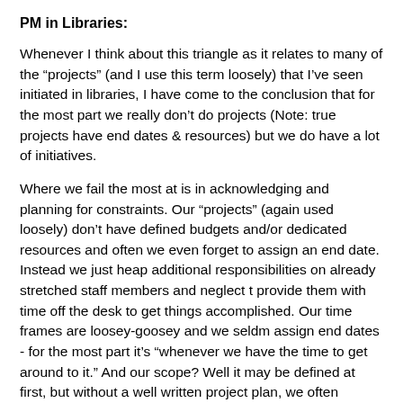PM in Libraries:
Whenever I think about this triangle as it relates to many of the “projects” (and I use this term loosely) that I’ve seen initiated in libraries, I have come to the conclusion that for the most part we really don’t do projects (Note: true projects have end dates & resources) but we do have a lot of initiatives.
Where we fail the most at is in acknowledging and planning for constraints. Our “projects” (again used loosely) don’t have defined budgets and/or dedicated resources and often we even forget to assign an end date. Instead we just heap additional responsibilities on already stretched staff members and neglect t provide them with time off the desk to get things accomplished. Our time frames are loosey-goosey and we seldm assign end dates - for the most part it’s “whenever we have the time to get around to it.” And our scope? Well it may be defined at first, but without a well written project plan, we often experience creep and redirection. The bottom line is that the end result is rarely what we set out for.